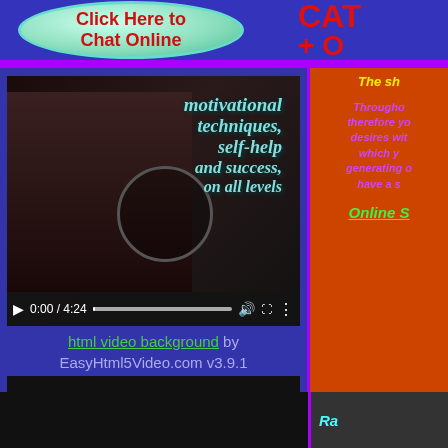[Figure (screenshot): Green oval button with red bold text 'Click Here to Chat Online' on blue background]
CAT + O
[Figure (screenshot): Video player showing man's face with text overlay: motivational techniques, self-help and success, on all levels. Controls show 0:00 / 4:24]
html video background by EasyHtml5Video.com v3.9.1
The sh Throughout therefore you desires wit which y generating o have a s Online S Ra